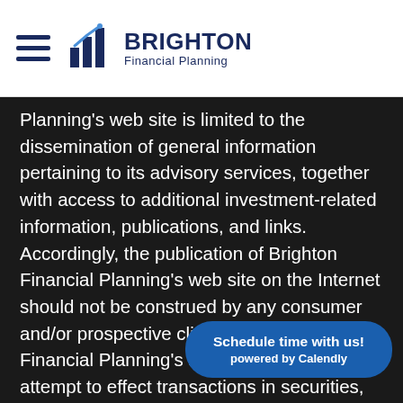Brighton Financial Planning
Planning's web site is limited to the dissemination of general information pertaining to its advisory services, together with access to additional investment-related information, publications, and links. Accordingly, the publication of Brighton Financial Planning's web site on the Internet should not be construed by any consumer and/or prospective client as Brighton Financial Planning's solicitation to effect, or attempt to effect transactions in securities, or the rendering of personalized investment advice for compensation, over the Internet. Any subsequent, direct communication by Brighton Financial Planning with a prospective client shall representative that is either registered or qualifies
Schedule time with us! powered by Calendly